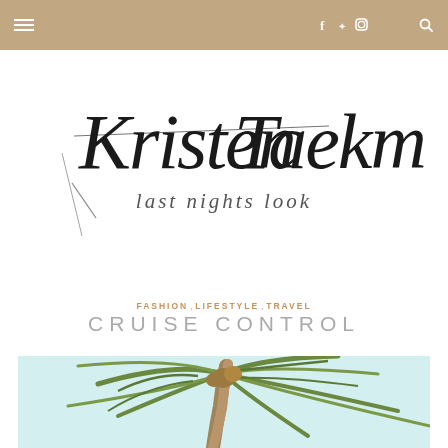≡  f  twitter  instagram  search
[Figure (logo): Kristen Taekman's last nights look — handwritten script logo in black on white background]
FASHION , LIFESTYLE , TRAVEL
CRUISE CONTROL
[Figure (photo): Palm tree with green fronds against a pale light blue sky, viewed from below, tropical setting]